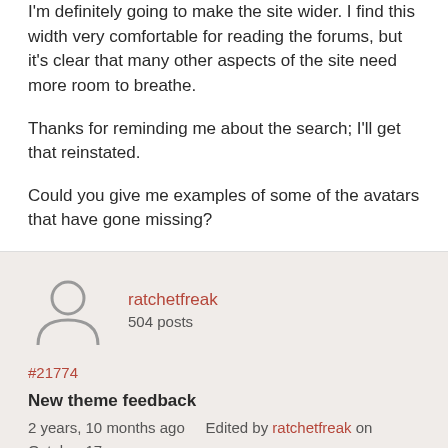I'm definitely going to make the site wider. I find this width very comfortable for reading the forums, but it's clear that many other aspects of the site need more room to breathe.
Thanks for reminding me about the search; I'll get that reinstated.
Could you give me examples of some of the avatars that have gone missing?
ratchetfreak
504 posts
#21774
New theme feedback
2 years, 10 months ago   Edited by ratchetfreak on October 17, 2019, 10:14pm